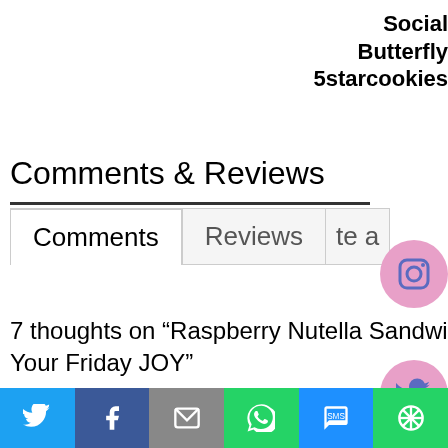Social Butterfly 5starcookies
Comments & Reviews
Comments | Reviews | te a
7 thoughts on “Raspberry Nutella Sandwiches – Your Friday JOY”
Tara
This website uses cookies to improve your experience. We'll assume you're ok with this, but you can opt-out if
[Figure (infographic): Social share bar at bottom: Twitter, Facebook, Email, WhatsApp, SMS, More buttons]
[Figure (infographic): Three pink circular social media icons on the right: Instagram, Twitter, Pinterest]